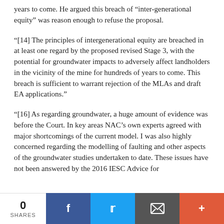years to come. He argued this breach of “inter-generational equity” was reason enough to refuse the proposal.
“[14] The principles of intergenerational equity are breached in at least one regard by the proposed revised Stage 3, with the potential for groundwater impacts to adversely affect landholders in the vicinity of the mine for hundreds of years to come. This breach is sufficient to warrant rejection of the MLAs and draft EA applications.”
“[16] As regarding groundwater, a huge amount of evidence was before the Court. In key areas NAC’s own experts agreed with major shortcomings of the current model. I was also highly concerned regarding the modelling of faulting and other aspects of the groundwater studies undertaken to date. These issues have not been answered by the 2016 IESC Advice for
0 SHARES | Facebook | Twitter | Email | +